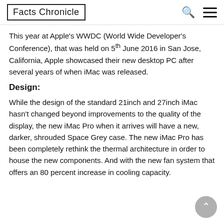Facts Chronicle
This year at Apple's WWDC (World Wide Developer's Conference), that was held on 5th June 2016 in San Jose, California, Apple showcased their new desktop PC after several years of when iMac was released.
Design:
While the design of the standard 21inch and 27inch iMac hasn't changed beyond improvements to the quality of the display, the new iMac Pro when it arrives will have a new, darker, shrouded Space Grey case. The new iMac Pro has been completely rethink the thermal architecture in order to house the new components. And with the new fan system that offers an 80 percent increase in cooling capacity.